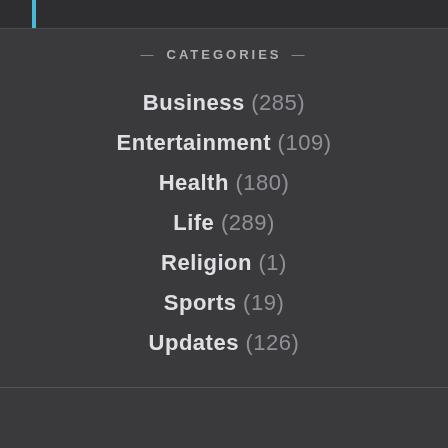— CATEGORIES —
Business (285)
Entertainment (109)
Health (180)
Life (289)
Religion (1)
Sports (19)
Updates (126)